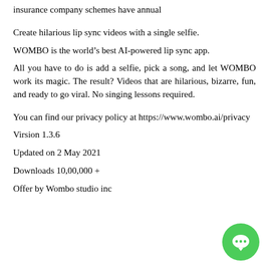insurance company schemes have annual
Create hilarious lip sync videos with a single selfie.
WOMBO is the world’s best AI-powered lip sync app.
All you have to do is add a selfie, pick a song, and let WOMBO work its magic. The result? Videos that are hilarious, bizarre, fun, and ready to go viral. No singing lessons required.
You can find our privacy policy at https://www.wombo.ai/privacy
Virsion 1.3.6
Updated on 2 May 2021
Downloads 10,00,000 +
Offer by Wombo studio inc
[Figure (illustration): Green circular chat bubble icon with three dots indicating a messaging/chat feature]